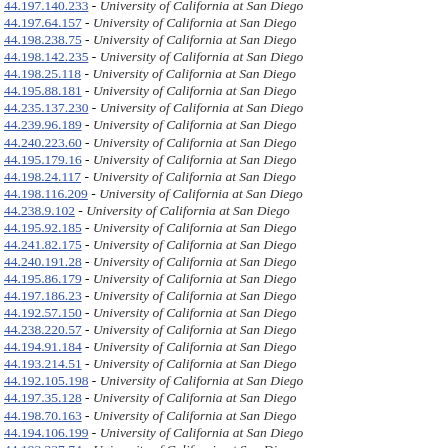44.197.140.233 - University of California at San Diego
44.197.64.157 - University of California at San Diego
44.198.238.75 - University of California at San Diego
44.198.142.235 - University of California at San Diego
44.198.25.118 - University of California at San Diego
44.195.88.181 - University of California at San Diego
44.235.137.230 - University of California at San Diego
44.239.96.189 - University of California at San Diego
44.240.223.60 - University of California at San Diego
44.195.179.16 - University of California at San Diego
44.198.24.117 - University of California at San Diego
44.198.116.209 - University of California at San Diego
44.238.9.102 - University of California at San Diego
44.195.92.185 - University of California at San Diego
44.241.82.175 - University of California at San Diego
44.240.191.28 - University of California at San Diego
44.195.86.179 - University of California at San Diego
44.197.186.23 - University of California at San Diego
44.192.57.150 - University of California at San Diego
44.238.220.57 - University of California at San Diego
44.194.91.184 - University of California at San Diego
44.193.214.51 - University of California at San Diego
44.192.105.198 - University of California at San Diego
44.197.35.128 - University of California at San Diego
44.198.70.163 - University of California at San Diego
44.194.106.199 - University of California at San Diego
44.193.237.74 - University of California at San Diego
44.195.91.184 - University of California at San Diego
44.195.77.170 - University of California at San Diego
44.194.38.131 - University of California at San Diego
44.222.74.167 - University of California at San Diego